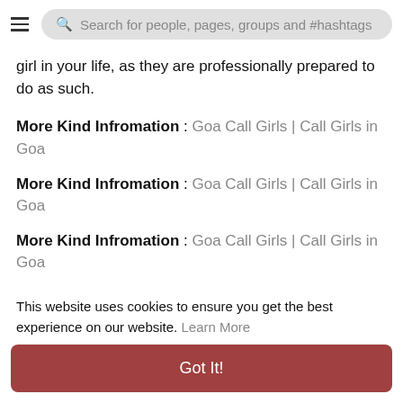Search for people, pages, groups and #hashtags
girl in your life, as they are professionally prepared to do as such.
More Kind Infromation : Goa Call Girls | Call Girls in Goa
More Kind Infromation : Goa Call Girls | Call Girls in Goa
More Kind Infromation : Goa Call Girls | Call Girls in Goa
More Kind Infromation : Goa Call Girls | Call Girls in
This website uses cookies to ensure you get the best experience on our website. Learn More
Got It!